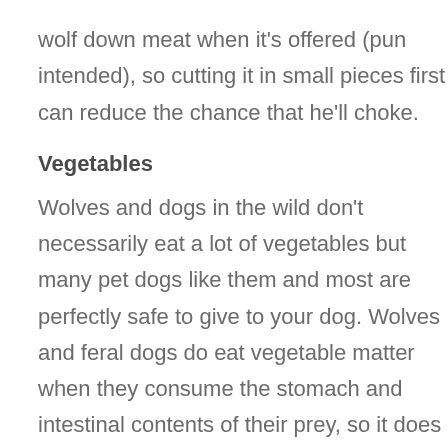wolf down meat when it's offered (pun intended), so cutting it in small pieces first can reduce the chance that he'll choke.
Vegetables
Wolves and dogs in the wild don't necessarily eat a lot of vegetables but many pet dogs like them and most are perfectly safe to give to your dog. Wolves and feral dogs do eat vegetable matter when they consume the stomach and intestinal contents of their prey, so it does form part of their diet in the wild. Many dogs like broccoli, carrots, green beans,